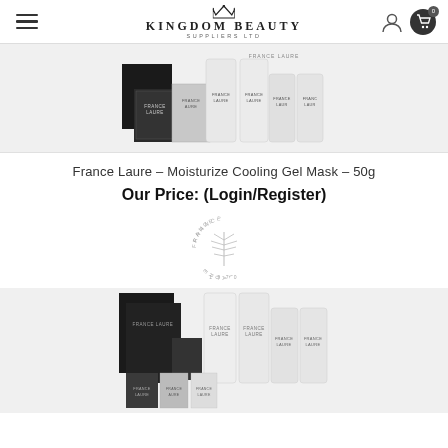Kingdom Beauty Suppliers Ltd
[Figure (photo): France Laure product collection showing bottles, tubes, packets and boxes in black and white packaging]
France Laure – Moisturize Cooling Gel Mask – 50g
Our Price: (Login/Register)
[Figure (logo): France Laure brand circular logo with leaf/tree motif and '1970' text]
[Figure (photo): France Laure product collection showing bottles, tubes, packets and boxes in black and white packaging (second instance)]